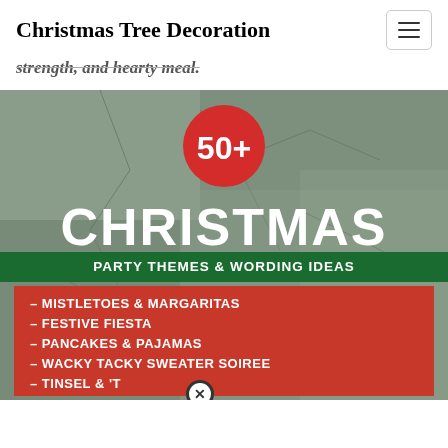Christmas Tree Decoration
strength, and hearty meal.
[Figure (infographic): Promotional infographic on a stone texture background featuring a red circle with '50+', large white text 'CHRISTMAS', a green banner reading 'PARTY THEMES & WORDING IDEAS', and a red panel listing: MISTLETOES & MARGARITAS, FESTIVE FIESTA, PANCAKES & PAJAMAS, WACKY TACKY SWEATER SOIREE, TINSEL & 'TUS (partially cut off with close button)]